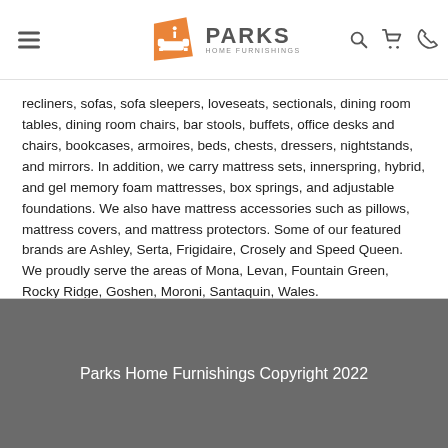Parks Home Furnishings — navigation header
recliners, sofas, sofa sleepers, loveseats, sectionals, dining room tables, dining room chairs, bar stools, buffets, office desks and chairs, bookcases, armoires, beds, chests, dressers, nightstands, and mirrors. In addition, we carry mattress sets, innerspring, hybrid, and gel memory foam mattresses, box springs, and adjustable foundations. We also have mattress accessories such as pillows, mattress covers, and mattress protectors. Some of our featured brands are Ashley, Serta, Frigidaire, Crosely and Speed Queen. We proudly serve the areas of Mona, Levan, Fountain Green, Rocky Ridge, Goshen, Moroni, Santaquin, Wales.
Parks Home Furnishings Copyright 2022